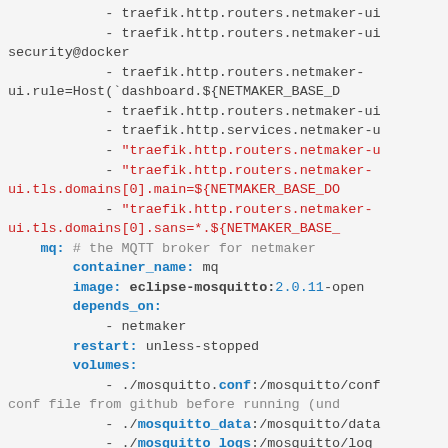[Figure (screenshot): YAML/Docker Compose configuration code snippet showing traefik router labels and mq (MQTT broker) service configuration with mosquitto settings]